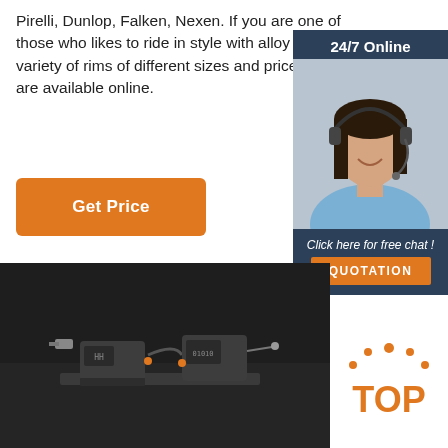Pirelli, Dunlop, Falken, Nexen. If you are one of those who likes to ride in style with alloy rims, a variety of rims of different sizes and price ranges are available online.
[Figure (other): Orange 'Get Price' button]
[Figure (photo): 24/7 Online chat widget with photo of female customer service agent wearing headset, 'Click here for free chat!' text, and orange QUOTATION button]
[Figure (photo): Dark product photo showing two small electronic devices connected by cables on a dark background]
[Figure (logo): TOP logo with orange dots and orange text on white background]